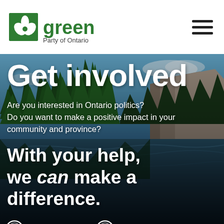[Figure (logo): Green Party of Ontario logo with green leaf/clover icon and 'green Party of Ontario' text]
Get involved
[Figure (photo): Scenic Ontario landscape with blue sky, pine trees, rocky outcrops, and a calm lake/river reflecting the surroundings]
Are you interested in Ontario politics?
Do you want to make a positive impact in your community and province?
With your help, we can make a difference.
VOLUNTEER
GET A LAWN SIGN